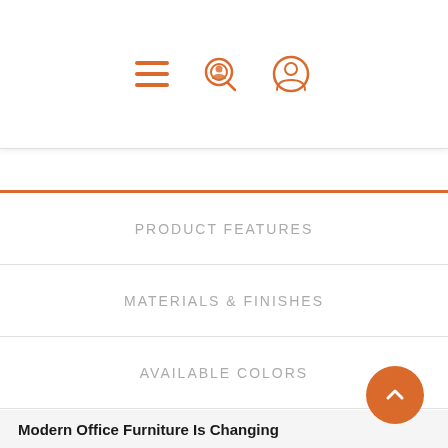[Figure (screenshot): Navigation header with hamburger menu, search icon, and user account icon in orange]
PRODUCT FEATURES
MATERIALS & FINISHES
AVAILABLE COLORS
F.A.Q.'S
HOW IT WORKS!
Modern Office Furniture Is Changing